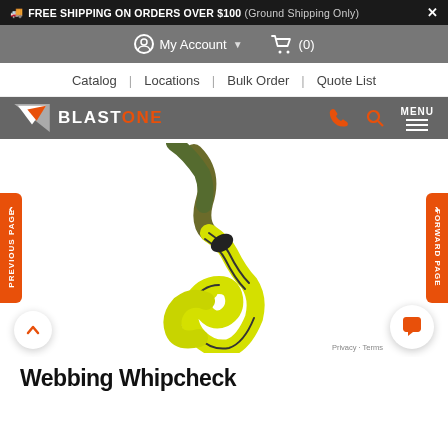FREE SHIPPING ON ORDERS OVER $100 (Ground Shipping Only)  X
My Account  (0)
Catalog | Locations | Bulk Order | Quote List
BLASTONE  MENU
[Figure (photo): Yellow webbing whipcheck safety cable with black stopper, twisted into a loop shape, on white background. Orange navigation tabs on left (PREVIOUS PAGE) and right (FORWARD PAGE) sides.]
Webbing Whipcheck